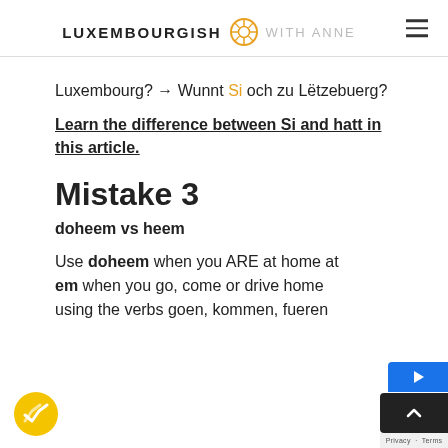LUXEMBOURGISH WITH ANNE
Luxembourg? → Wunnt Si och zu Lëtzebuerg?
Learn the difference between Si and hatt in this article.
Mistake 3
doheem vs heem
Use doheem when you ARE at home at … em when you go, come or drive home … using the verbs goen, kommen, fueren